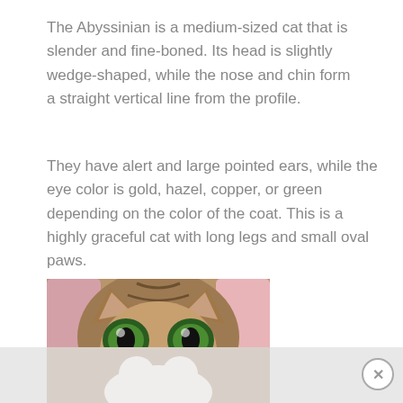The Abyssinian is a medium-sized cat that is slender and fine-boned. Its head is slightly wedge-shaped, while the nose and chin form a straight vertical line from the profile.
They have alert and large pointed ears, while the eye color is gold, hazel, copper, or green depending on the color of the coat. This is a highly graceful cat with long legs and small oval paws.
[Figure (photo): Close-up photo of an Abyssinian cat face with large green eyes, brown/tabby fur, and a pink nose, partially cropped at the bottom]